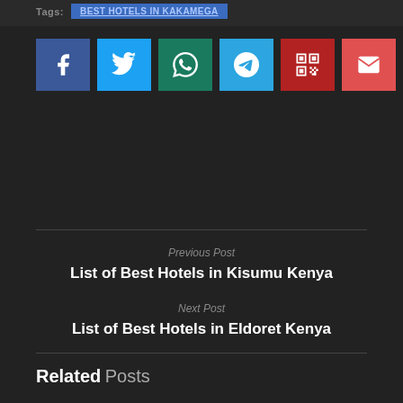Tags: BEST HOTELS IN KAKAMEGA
[Figure (other): Row of social share buttons: Facebook (blue), Twitter (light blue), WhatsApp (teal), Telegram (sky blue), QR code (dark red), Email (salmon red)]
Previous Post
List of Best Hotels in Kisumu Kenya
Next Post
List of Best Hotels in Eldoret Kenya
Related Posts